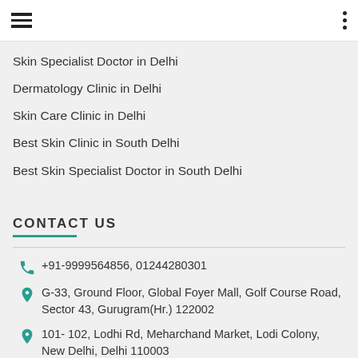Skin Specialist Doctor in Delhi
Dermatology Clinic in Delhi
Skin Care Clinic in Delhi
Best Skin Clinic in South Delhi
Best Skin Specialist Doctor in South Delhi
CONTACT US
+91-9999564856, 01244280301
G-33, Ground Floor, Global Foyer Mall, Golf Course Road, Sector 43, Gurugram(Hr.) 122002
101- 102, Lodhi Rd, Meharchand Market, Lodi Colony, New Delhi, Delhi 110003